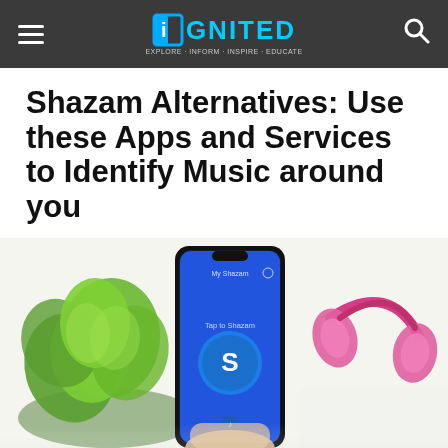iGNITED — navigation header with hamburger menu, logo, and search icon
Shazam Alternatives: Use these Apps and Services to Identify Music around you
BY CLINTON MADEGWA
24/05/2022
[Figure (other): Social sharing icons: Facebook (blue circle), Twitter (light blue circle), LinkedIn (dark blue circle), Email (grey circle), Pinterest (red circle)]
[Figure (photo): A hand holding a smartphone displaying the Shazam app with its circular logo and 'Tap to Shazam' interface, with a green plant on the left and pink/magenta headphones on the right, against a white background.]